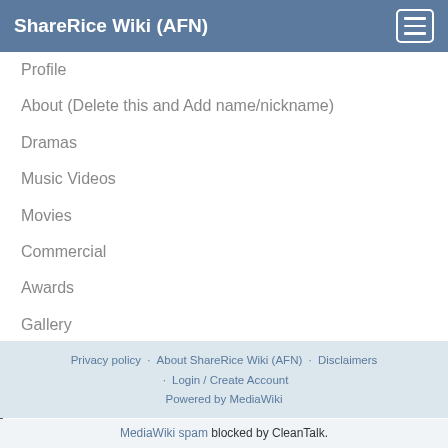ShareRice Wiki (AFN)
Profile
About (Delete this and Add name/nickname)
Dramas
Music Videos
Movies
Commercial
Awards
Gallery
Magazine Gallery
Related Articles
Links
Privacy policy · About ShareRice Wiki (AFN) · Disclaimers · Login / Create Account
Powered by MediaWiki
MediaWiki spam blocked by CleanTalk.